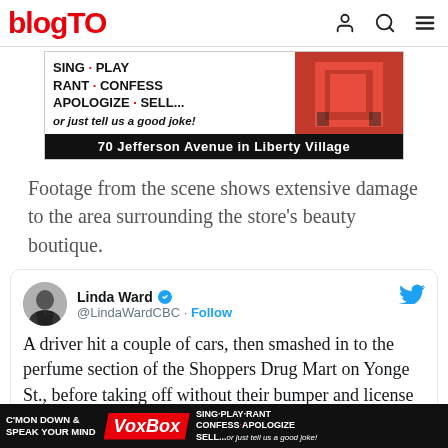blogTO
[Figure (photo): Advertisement banner for VoxBox at 70 Jefferson Avenue in Liberty Village. Text reads: SING · PLAY / RANT · CONFESS / APOLOGIZE · SELL... / or just tell us a good joke! / 70 Jefferson Avenue in Liberty Village. Red booth image on right side.]
Footage from the scene shows extensive damage to the area surrounding the store's beauty boutique.
Linda Ward @LindaWardCBC · Follow
A driver hit a couple of cars, then smashed in to the perfume section of the Shoppers Drug Mart on Yonge St., before taking off without their bumper and license
[Figure (photo): Bottom overlay advertisement for VoxBox at 70 Jefferson Avenue in Liberty Village. Text: C'MON DOWN & SPEAK YOUR MIND with VoxBox logo and SING·PLAY·RANT CONFESS·APOLOGIZE SELL...or just tell us a good joke!]